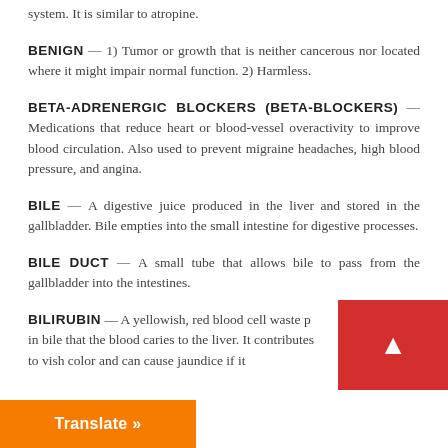system. It is similar to atropine.
BENIGN — 1) Tumor or growth that is neither cancerous nor located where it might impair normal function. 2) Harmless.
BETA-ADRENERGIC BLOCKERS (BETA-BLOCKERS) — Medications that reduce heart or blood-vessel overactivity to improve blood circulation. Also used to prevent migraine headaches, high blood pressure, and angina.
BILE — A digestive juice produced in the liver and stored in the gallbladder. Bile empties into the small intestine for digestive processes.
BILE DUCT — A small tube that allows bile to pass from the gallbladder into the intestines.
BILIRUBIN — A yellowish, red blood cell waste product in bile that the blood caries to the liver. It contributes to yellowish color and can cause jaundice if it...